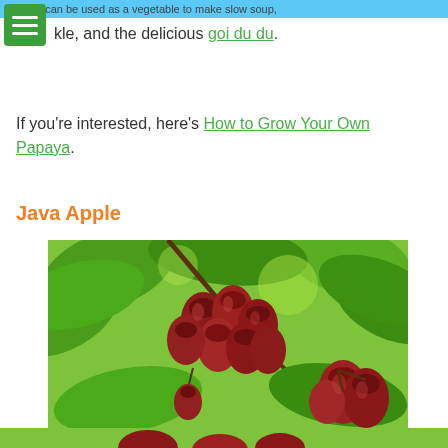papaya can be used as a vegetable to make slow soup,
kle, and the delicious goi du du.
If you're interested, here's How to Grow Your Own Papaya.
Java Apple
[Figure (photo): Close-up photo of red Java Apple (rose apple) fruits hanging in clusters from a tree branch surrounded by green leaves. The fruits are deep red/maroon in color with a bell or pear shape. Another cluster of similar fruits visible in the lower right corner.]
[Figure (photo): Bottom strip showing partial view of more Java Apple fruits on green background.]